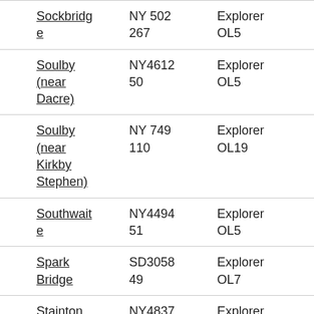| Sockbridge | NY 502 267 | Explorer OL5 |
| Soulby (near Dacre) | NY4612 50 | Explorer OL5 |
| Soulby (near Kirkby Stephen) | NY 749 110 | Explorer OL19 |
| Southwaite | NY4494 51 | Explorer OL5 |
| Spark Bridge | SD3058 49 | Explorer OL7 |
| Stainton | NY4837 | Explorer |